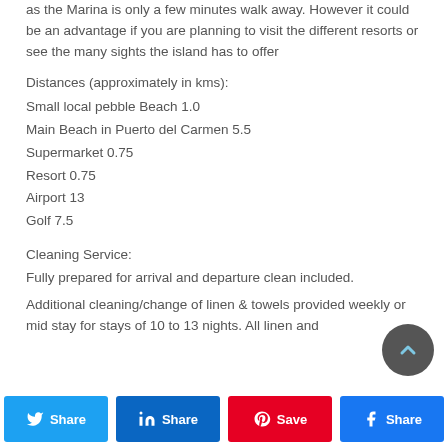as the Marina is only a few minutes walk away.  However it could be an advantage if you are planning to visit the different resorts or see the many sights the island has to offer
Distances (approximately in kms):
Small local pebble Beach 1.0
Main Beach in Puerto del Carmen 5.5
Supermarket 0.75
Resort 0.75
Airport 13
Golf 7.5
Cleaning Service:
Fully prepared for arrival and departure clean included.
Additional cleaning/change of linen & towels provided weekly or mid stay for stays of 10 to 13 nights.  All linen and